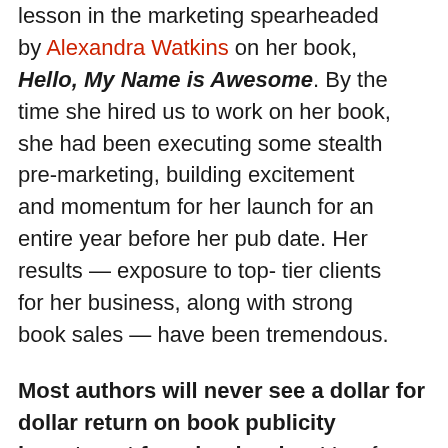lesson in the marketing spearheaded by Alexandra Watkins on her book, Hello, My Name is Awesome. By the time she hired us to work on her book, she had been executing some stealth pre-marketing, building excitement and momentum for her launch for an entire year before her pub date. Her results — exposure to top-tier clients for her business, along with strong book sales — have been tremendous.
Most authors will never see a dollar for dollar return on book publicity investment from book sales. Very few authors ever make up their investment in